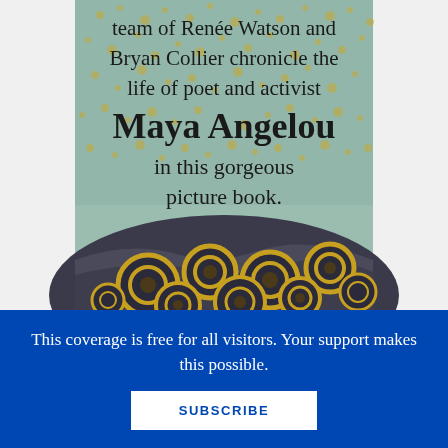[Figure (illustration): Book cover illustration showing text 'team of Renée Watson and Bryan Collier chronicle the life of poet and activist Maya Angelou in this gorgeous picture book.' on a textured teal/gold background, with decorative fabric or clothing with yellow circular patterns in the lower half.]
This coverage is free for all visitors. Your support makes this possible.
SUBSCRIBE